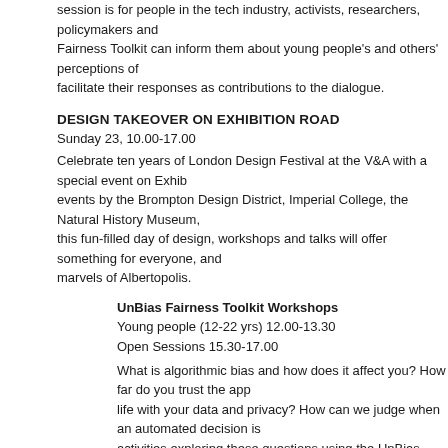session is for people in the tech industry, activists, researchers, policymakers and others. The Fairness Toolkit can inform them about young people's and others' perceptions of ... facilitate their responses as contributions to the dialogue.
DESIGN TAKEOVER ON EXHIBITION ROAD
Sunday 23, 10.00-17.00
Celebrate ten years of London Design Festival at the V&A with a special event on Exhibition Road, events by the Brompton Design District, Imperial College, the Natural History Museum, this fun-filled day of design, workshops and talks will offer something for everyone, and marvels of Albertopolis.
UnBias Fairness Toolkit Workshops
Young people (12-22 yrs) 12.00-13.30
Open Sessions 15.30-17.00
What is algorithmic bias and how does it affect you? How far do you trust the apps in your life with your data and privacy? How can we judge when an automated decision is fair? Join activities exploring these questions using the UnBias Fairness Toolkit to stimulate investigations.
Download the V&A DDW Brochure
Colleagues from Oxford University and Horizon Digital Economy Institute will also be running the event: